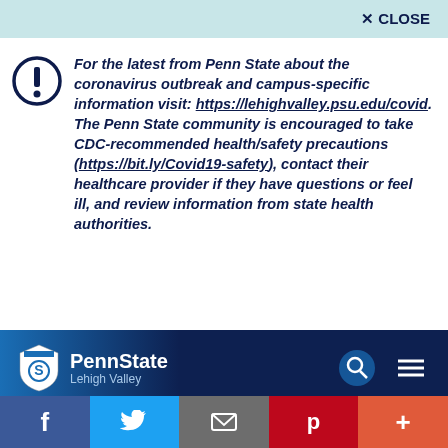✕ CLOSE
For the latest from Penn State about the coronavirus outbreak and campus-specific information visit: https://lehighvalley.psu.edu/covid. The Penn State community is encouraged to take CDC-recommended health/safety precautions (https://bit.ly/Covid19-safety), contact their healthcare provider if they have questions or feel ill, and review information from state health authorities.
[Figure (logo): Penn State Lehigh Valley navigation bar with logo, search icon and menu icon]
TAGS
[Figure (infographic): Social media sharing buttons: Facebook, Twitter, Email, Pinterest, More]